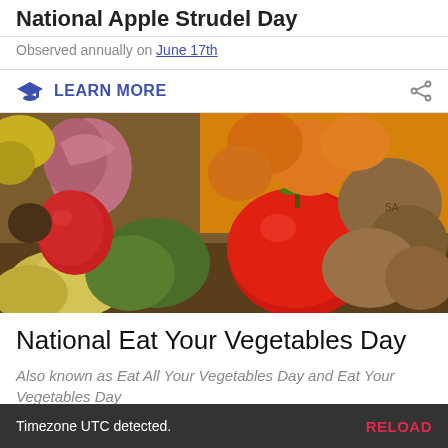National Apple Strudel Day
Observed annually on June 17th
LEARN MORE
[Figure (photo): A close-up photo of various colorful vegetables and fruits including tomatoes, pears, potatoes, oranges, and onions arranged together.]
National Eat Your Vegetables Day
Also known as Eat All Your Vegetables Day and Eat Your Vegetables Day
Timezone UTC detected.    RELOAD